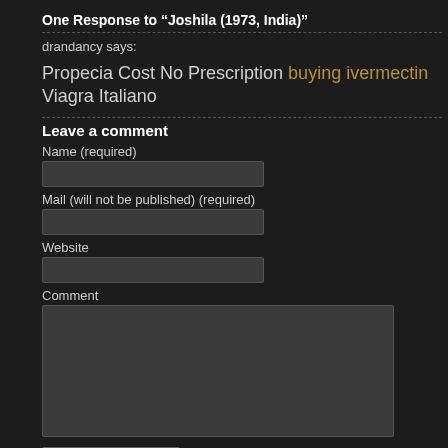One Response to “Joshila (1973, India)”
drandancy says:
Propecia Cost No Prescription buying ivermectin Viagra Italiano
Leave a comment
Name (required)
Mail (will not be published) (required)
Website
Comment
Submit comment »
XHTML: You can use these tags: